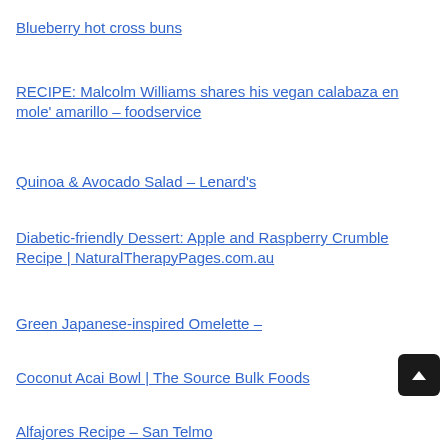Blueberry hot cross buns
RECIPE: Malcolm Williams shares his vegan calabaza en mole' amarillo – foodservice
Quinoa & Avocado Salad – Lenard's
Diabetic-friendly Dessert: Apple and Raspberry Crumble Recipe | NaturalTherapyPages.com.au
Green Japanese-inspired Omelette –
Coconut Acai Bowl | The Source Bulk Foods
Alfajores Recipe – San Telmo